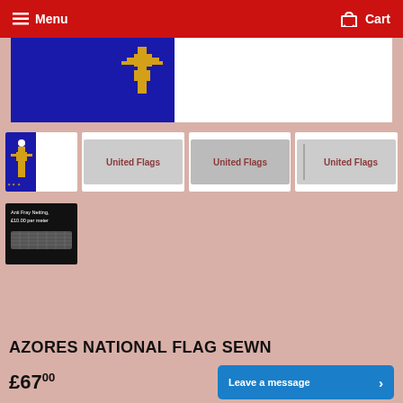Menu   Cart
[Figure (photo): Main product image: Azores national flag showing blue and white sections with golden hawk emblem]
[Figure (photo): Thumbnail 1: Azores flag close-up, blue section with golden hawk and stars]
[Figure (photo): Thumbnail 2: Flat sewn flag on white background with brand label]
[Figure (photo): Thumbnail 3: Flat sewn flag on white background with brand label, slightly different angle]
[Figure (photo): Thumbnail 4: Flag on pole with brand label]
[Figure (photo): Thumbnail 5: Black background image showing anti-fray netting, text: Anti Fray Netting, £10.00 per meter]
AZORES NATIONAL FLAG SEWN
£67.00
Leave a message